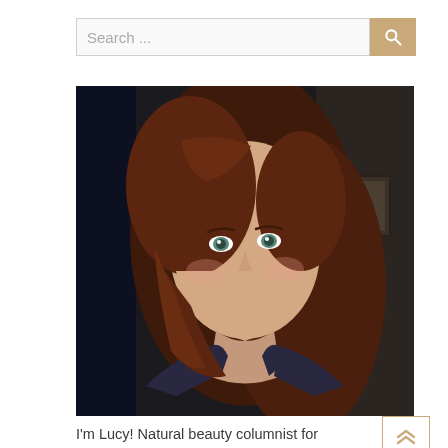Search ...
[Figure (photo): Portrait photo of a woman with auburn/reddish-brown hair, smiling, with blue-green eyes, wearing a dark tank top, photographed indoors with a dark background]
I'm Lucy! Natural beauty columnist for Cosmopolitan and author of the bestselling guide to giving up shampoo, Happy Hair